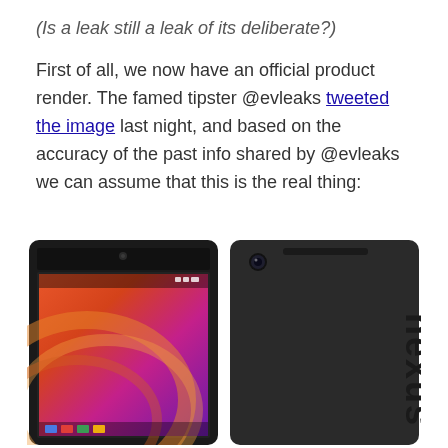(Is a leak still a leak of its deliberate?)
First of all, we now have an official product render. The famed tipster @evleaks tweeted the image last night, and based on the accuracy of the past info shared by @evleaks we can assume that this is the real thing:
[Figure (photo): Product render showing front and back of a Nexus 7 tablet. Left side shows the front with Android home screen visible. Right side shows the back with 'nexus' text branding.]